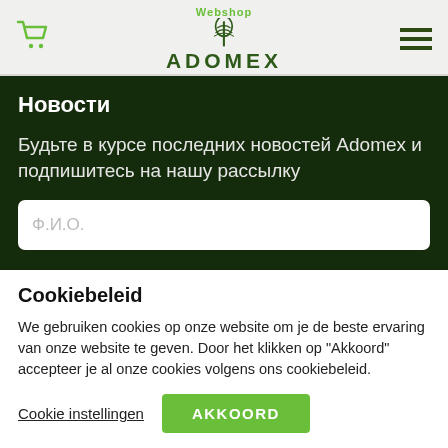Webshop ADOMEX
Новости
Будьте в курсе последних новостей Adomex и подпишитесь на нашу рассылку
Ф.И.О.
Cookiebeleid
We gebruiken cookies op onze website om je de beste ervaring van onze website te geven. Door het klikken op "Akkoord" accepteer je al onze cookies volgens ons cookiebeleid.
Cookie instellingen
AKKOORD